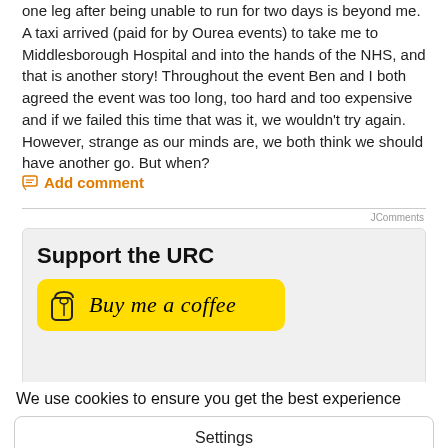one leg after being unable to run for two days is beyond me. A taxi arrived (paid for by Ourea events) to take me to Middlesborough Hospital and into the hands of the NHS, and that is another story! Throughout the event Ben and I both agreed the event was too long, too hard and too expensive and if we failed this time that was it, we wouldn't try again. However, strange as our minds are, we both think we should have another go. But when?
Add comment
JComments
Support the URC
[Figure (other): Buy me a coffee button with yellow background and coffee cup icon]
We use cookies to ensure you get the best experience
Settings
Allow All
Disable All